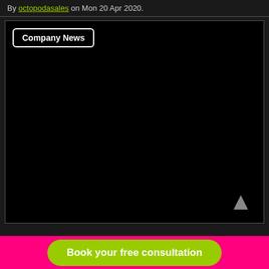By octopodasales on Mon 20 Apr 2020.
[Figure (screenshot): Black video player with a Company News tag/button overlay in the top-left and a play arrow icon in the bottom-right]
Book your free consultation